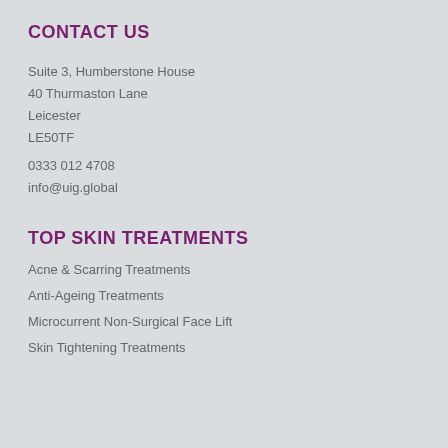CONTACT US
Suite 3, Humberstone House
40 Thurmaston Lane
Leicester
LE50TF
0333 012 4708
info@uig.global
TOP SKIN TREATMENTS
Acne & Scarring Treatments
Anti-Ageing Treatments
Microcurrent Non-Surgical Face Lift
Skin Tightening Treatments